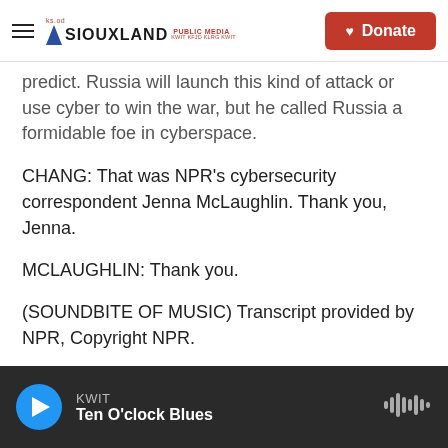Siouxland Public Media — Donate
predict. Russia will launch this kind of attack or use cyber to win the war, but he called Russia a formidable foe in cyberspace.
CHANG: That was NPR's cybersecurity correspondent Jenna McLaughlin. Thank you, Jenna.
MCLAUGHLIN: Thank you.
(SOUNDBITE OF MUSIC) Transcript provided by NPR, Copyright NPR.
KWIT — Ten O'clock Blues